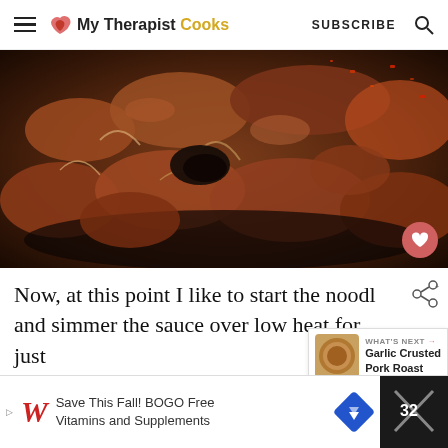My Therapist Cooks | SUBSCRIBE
[Figure (photo): Close-up photo of cooked ground meat with onions and red pepper flakes in a dark pan, dark and rustic tones]
Now, at this point I like to start the noodle and simmer the sauce over low heat for just as long as the noodles take to coo
WHAT'S NEXT → Garlic Crusted Pork Roast
[Figure (photo): Advertisement: Save This Fall! BOGO Free Vitamins and Supplements - Walgreens]